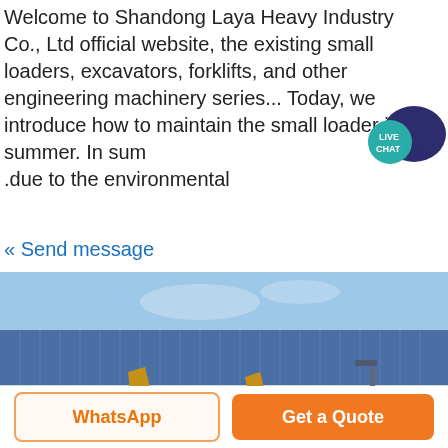Welcome to Shandong Laya Heavy Industry Co., Ltd official website, the existing small loaders, excavators, forklifts, and other engineering machinery series... Today, we introduce how to maintain the small loader in summer. In sum... due to the environmental
« Send message
[Figure (photo): Row of yellow backhoe loaders/small wheel loaders parked in front of a large industrial warehouse with a blue corrugated metal roof. Clear sky visible. Multiple machines with front buckets and rear backhoe attachments.]
WhatsApp
Get a Quote